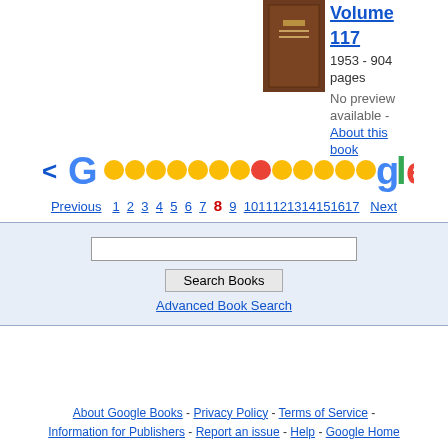[Figure (photo): Book cover image, brown hardcover book]
Volume 117
1953 - 904 pages
No preview available -
About this book
[Figure (logo): Google logo with colored dots forming pagination]
Previous 1 2 3 4 5 6 7 8 9 10 11 12 13 14 15 16 17 Next
[Figure (screenshot): Search box area with Search Books button and Advanced Book Search link]
About Google Books - Privacy Policy - Terms of Service - Information for Publishers - Report an issue - Help - Google Home